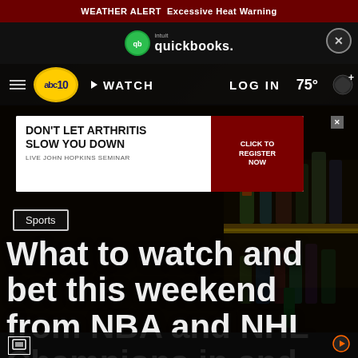WEATHER ALERT Excessive Heat Warning
[Figure (screenshot): QuickBooks advertisement banner with logo and close button on dark background]
[Figure (screenshot): ABC 10 navigation bar with hamburger menu, ABC logo, WATCH button, LOG IN, and 75° temperature]
[Figure (screenshot): Advertisement banner: DON'T LET ARTHRITIS SLOW YOU DOWN - Live John Hopkins Seminar - CLICK TO REGISTER NOW]
[Figure (photo): Dark bar interior with shelves of liquor bottles, a woman smiling in a blue denim shirt with a headband]
Sports
What to watch and bet this weekend from NBA and NHL Champions in and the
[Figure (screenshot): Bottom navigation bar with screenshot icon on left and orange arrow icon on right]